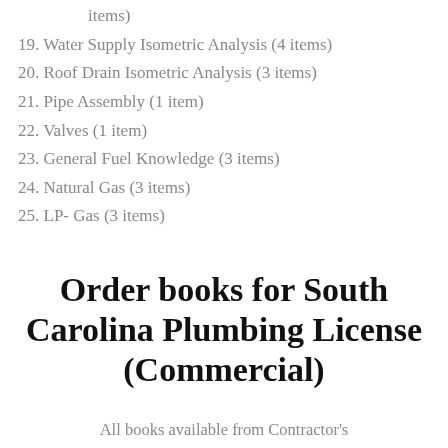items)
19. Water Supply Isometric Analysis (4 items)
20. Roof Drain Isometric Analysis (3 items)
21. Pipe Assembly (1 item)
22. Valves (1 item)
23. General Fuel Knowledge (3 items)
24. Natural Gas (3 items)
25. LP- Gas (3 items)
Order books for South Carolina Plumbing License (Commercial)
All books available from Contractor's